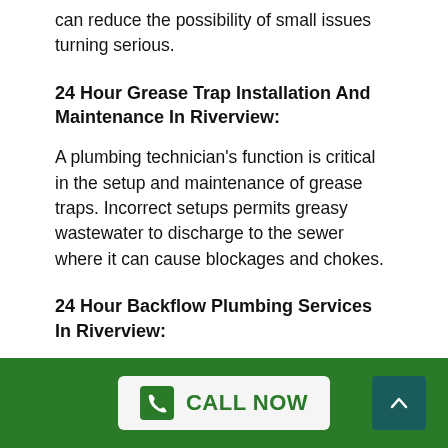can reduce the possibility of small issues turning serious.
24 Hour Grease Trap Installation And Maintenance In Riverview:
A plumbing technician's function is critical in the setup and maintenance of grease traps. Incorrect setups permits greasy wastewater to discharge to the sewer where it can cause blockages and chokes.
24 Hour Backflow Plumbing Services In Riverview:
Backflow is the reversal of the normal direction of water circulation in your water supply plumbing system. In order to reduce the danger of contamination, it is vital to set up a backflow system and make sure your plumbing system is properly maintained.
CALL NOW